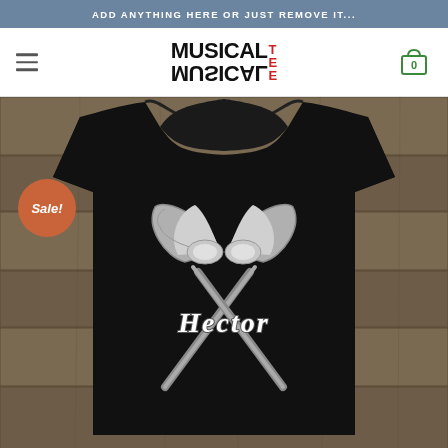ADD ANYTHING HERE OR JUST REMOVE IT...
[Figure (logo): MusicalTee logo with stacked MUSICAL text in bold black and TEE in red letters to the right]
[Figure (photo): Black t-shirt with two crossed Viking axes and the name 'Hector' in old English gothic lettering, displayed on a wooden plank background. A Sale! badge in terracotta/orange circle appears in the upper left of the product image.]